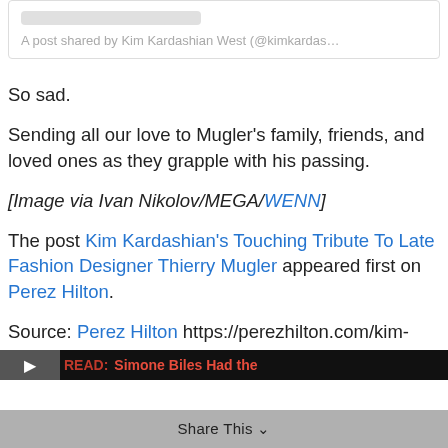[Figure (screenshot): Embedded social media post box with placeholder bar and caption: A post shared by Kim Kardashian West (@kimkardas...]
So sad.
Sending all our love to Mugler’s family, friends, and loved ones as they grapple with his passing.
[Image via Ivan Nikolov/MEGA/WENN]
The post Kim Kardashian's Touching Tribute To Late Fashion Designer Thierry Mugler appeared first on Perez Hilton.
Source: Perez Hilton https://perezhilton.com/kim-kardashian-thierry-mugler-tribute-death-memorial/
Share This
READ: Simone Biles Had the